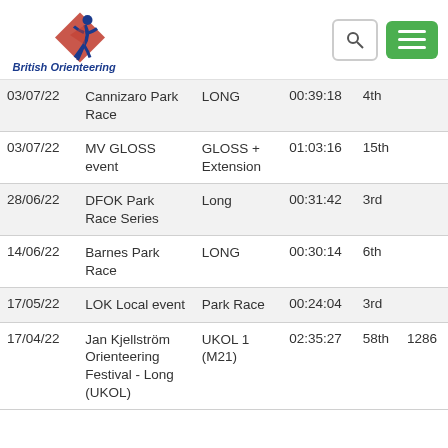[Figure (logo): British Orienteering logo with runner silhouette and red/blue geometric shapes, text 'British Orienteering' in dark blue italic]
| Date | Event | Category | Time | Position |  |
| --- | --- | --- | --- | --- | --- |
| 03/07/22 | Cannizaro Park Race | LONG | 00:39:18 | 4th |  |
| 03/07/22 | MV GLOSS event | GLOSS + Extension | 01:03:16 | 15th |  |
| 28/06/22 | DFOK Park Race Series | Long | 00:31:42 | 3rd |  |
| 14/06/22 | Barnes Park Race | LONG | 00:30:14 | 6th |  |
| 17/05/22 | LOK Local event | Park Race | 00:24:04 | 3rd |  |
| 17/04/22 | Jan Kjellström Orienteering Festival - Long (UKOL) | UKOL 1 (M21) | 02:35:27 | 58th | 1286 |